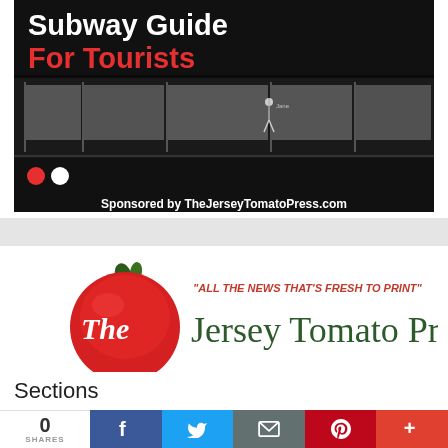[Figure (photo): Advertisement banner for 'Subway Guide For Tourists' with a dark subway station background image, two navigation dots (red and white), and a sponsor line at the bottom reading 'Sponsored by TheJerseyTomatoPress.com'. The title shows 'Subway Guide' in white bold text and 'For Tourists' in red bold text.]
[Figure (logo): The Jersey Tomato Press logo — a red tomato with green stem on the left, italic red text 'ALL THE NEWS THAT’S FRESH TO PRINT' above, and large dark green serif text 'The Jersey Tomato Press' to the right.]
Sections
[Figure (infographic): Social share bar with a count of 0 SHARES on the left, then buttons: Facebook (blue), Twitter (light blue), Email (gray), Pinterest (red), More (orange-red).]